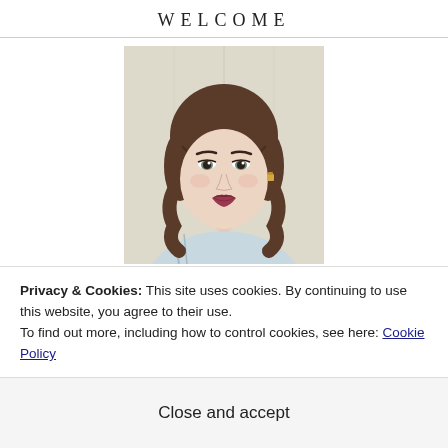WELCOME
[Figure (photo): Portrait photo of a young woman with brown bangs and wavy hair, wearing a light-colored top and gold earrings, smiling, photographed in front of a light wooden background.]
Privacy & Cookies: This site uses cookies. By continuing to use this website, you agree to their use.
To find out more, including how to control cookies, see here: Cookie Policy
Close and accept
write book reviews and reading updates, consisting mostly of rants and ramblings about characters, plot